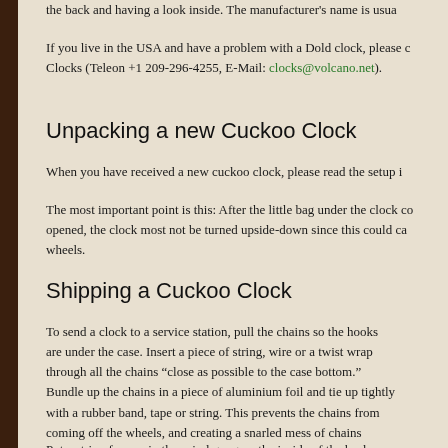the back and having a look inside. The manufacturer's name is usua
If you live in the USA and have a problem with a Dold clock, please c Clocks (Teleon +1 209-296-4255, E-Mail: clocks@volcano.net).
Unpacking a new Cuckoo Clock
When you have received a new cuckoo clock, please read the setup i
The most important point is this: After the little bag under the clock co opened, the clock most not be turned upside-down since this could ca wheels.
Shipping a Cuckoo Clock
To send a clock to a service station, pull the chains so the hooks are under the case. Insert a piece of string, wire or a twist wrap through all the chains “close as possible to the case bottom.” Bundle up the chains in a piece of aluminium foil and tie up tightly with a rubber band, tape or string. This prevents the chains from coming off the wheels, and creating a snarled mess of chains inside the clock.
Put a strip of paper in the spiral gong on the inside of the back access panel. Pack the clock in an oversize box with crushed